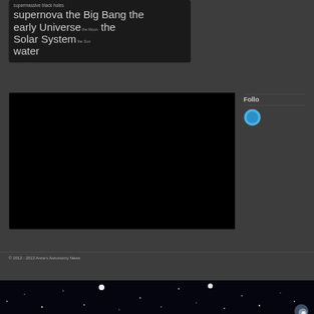supermassive black holes supernova the Big Bang the early Universe the Moon the Solar System the Sun water
[Figure (other): Large black embedded media/video area with a partial circular blue icon visible on the right side, and a 'Follow' label with dotted borders above and below it]
© 2012 - 2013 Anne's Astronomy News
[Figure (photo): Starfield strip at the bottom — dark night sky with scattered white star points and a bright glow at the lower right]